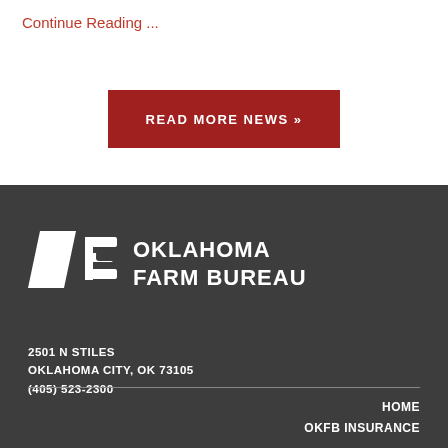Continue Reading ...
READ MORE NEWS »
[Figure (logo): Oklahoma Farm Bureau logo — white stylized FB letters with 'OKLAHOMA FARM BUREAU' text in white bold serif font on dark background]
2501 N STILES
OKLAHOMA CITY, OK 73105
(405) 523-2300
HOME
OKFB INSURANCE